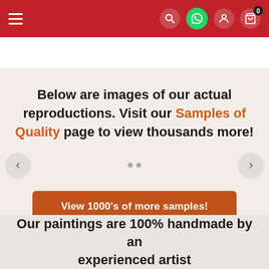Navigation bar with hamburger menu, search, WhatsApp, account, and cart (0) icons
Below are images of our actual reproductions. Visit our Samples of Quality page to view thousands more!
[Figure (screenshot): Carousel navigation with left and right arrow buttons and two dots]
View 1000's of more samples!
Our paintings are 100% handmade by an experienced artist